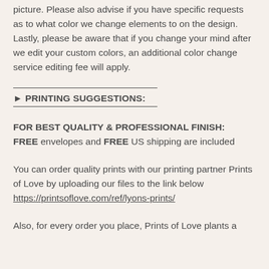picture. Please also advise if you have specific requests as to what color we change elements to on the design. Lastly, please be aware that if you change your mind after we edit your custom colors, an additional color change service editing fee will apply.
► PRINTING SUGGESTIONS:
FOR BEST QUALITY & PROFESSIONAL FINISH:
FREE envelopes and FREE US shipping are included
You can order quality prints with our printing partner Prints of Love by uploading our files to the link below
https://printsoflove.com/ref/lyons-prints/
Also, for every order you place, Prints of Love plants a